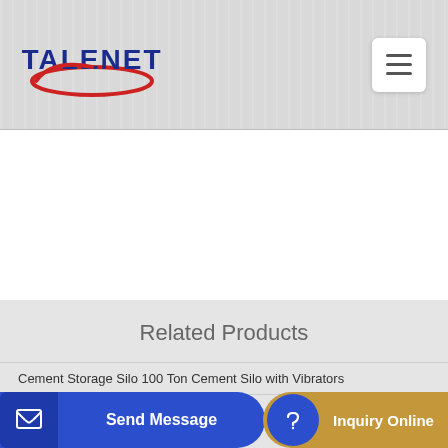[Figure (logo): TALENET company logo with red oval ellipse and blue bold text]
Related Products
Cement Storage Silo 100 Ton Cement Silo with Vibrators
concrete plant mixer factory price
Send Message | Inquiry Online